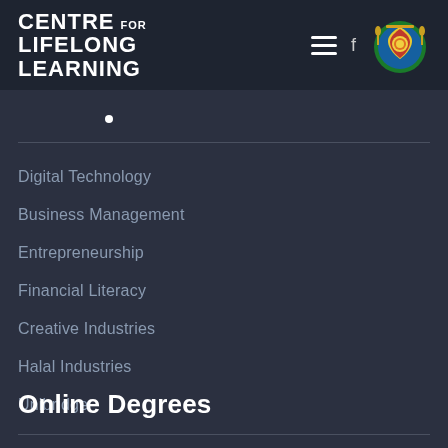CENTRE FOR LIFELONG LEARNING
Digital Technology
Business Management
Entrepreneurship
Financial Literacy
Creative Industries
Halal Industries
Unibridge
Online Degrees